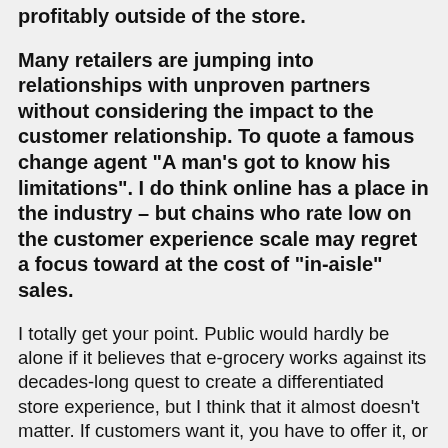profitably outside of the store.
Many retailers are jumping into relationships with unproven partners without considering the impact to the customer relationship. To quote a famous change agent "A man's got to know his limitations". I do think online has a place in the industry – but chains who rate low on the customer experience scale may regret a focus toward at the cost of “in-aisle” sales.
I totally get your point. Public would hardly be alone if it believes that e-grocery works against its decades-long quest to create a differentiated store experience, but I think that it almost doesn't matter. If customers want it, you have to offer it, or risk irrelevance. You have to figure out how to extend the in-store experience to the online environment, and use it as bait to get people into the store rather than as